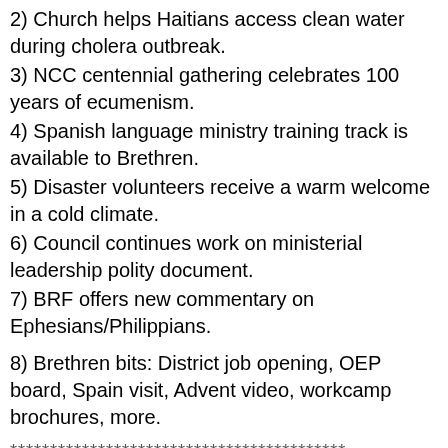2) Church helps Haitians access clean water during cholera outbreak.
3) NCC centennial gathering celebrates 100 years of ecumenism.
4) Spanish language ministry training track is available to Brethren.
5) Disaster volunteers receive a warm welcome in a cold climate.
6) Council continues work on ministerial leadership polity document.
7) BRF offers new commentary on Ephesians/Philippians.
8) Brethren bits: District job opening, OEP board, Spain visit, Advent video, workcamp brochures, more.
******************************************
1) Progressive Brethren Gathering hears from seminary president.